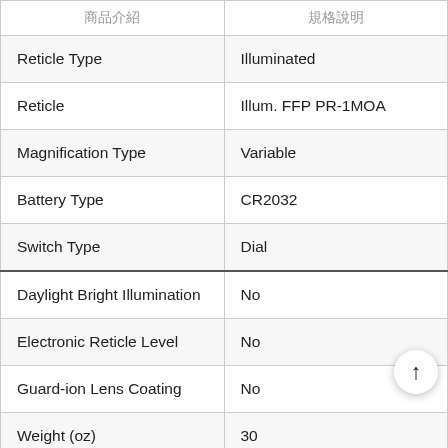| 商品介紹 | 規格說明 |
| --- | --- |
| Reticle Type | Illuminated |
| Reticle | Illum. FFP PR-1MOA |
| Magnification Type | Variable |
| Battery Type | CR2032 |
| Switch Type | Dial |
| Daylight Bright Illumination | No |
| Electronic Reticle Level | No |
| Guard-ion Lens Coating | No |
| Weight (oz) | 30 |